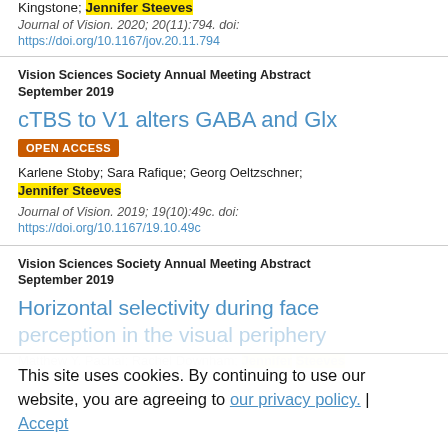Kingstone; Jennifer Steeves
Journal of Vision. 2020; 20(11):794. doi: https://doi.org/10.1167/jov.20.11.794
Vision Sciences Society Annual Meeting Abstract September 2019
cTBS to V1 alters GABA and Glx
OPEN ACCESS
Karlene Stoby; Sara Rafique; Georg Oeltzschner; Jennifer Steeves
Journal of Vision. 2019; 19(10):49c. doi: https://doi.org/10.1167/19.10.49c
Vision Sciences Society Annual Meeting Abstract September 2019
Horizontal selectivity during face perception in the visual periphery
Matthew Y. Pachai; Rachel Downham; Jennifer Steeves
This site uses cookies. By continuing to use our website, you are agreeing to our privacy policy. Accept